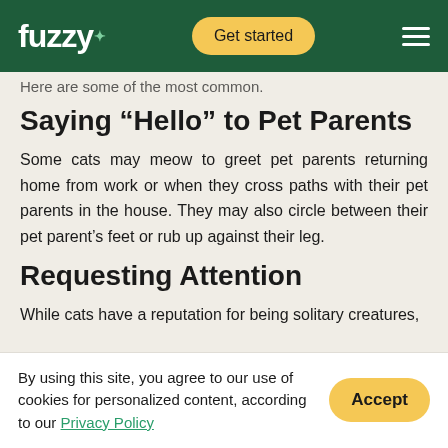fuzzy+ | Get started
Here are some of the most common.
Saying “Hello” to Pet Parents
Some cats may meow to greet pet parents returning home from work or when they cross paths with their pet parents in the house. They may also circle between their pet parent’s feet or rub up against their leg.
Requesting Attention
While cats have a reputation for being solitary creatures,
By using this site, you agree to our use of cookies for personalized content, according to our Privacy Policy